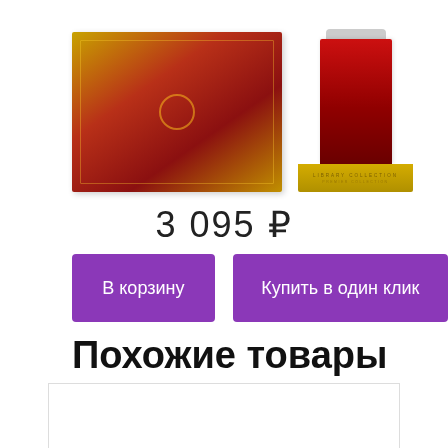[Figure (photo): Two product images: a red/gold box on the left and a red perfume bottle on a gold base on the right (Library Collection)]
3 095 ₽
В корзину
Купить в один клик
Похожие товары
[Figure (photo): Related product image placeholder (white box with border)]